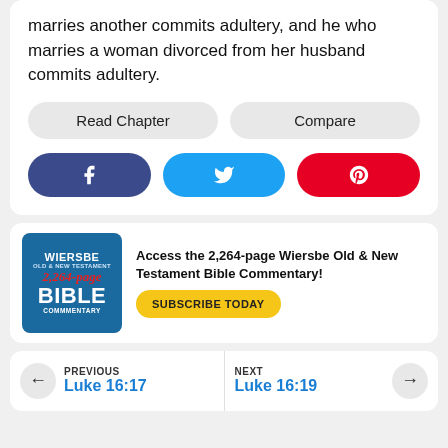marries another commits adultery, and he who marries a woman divorced from her husband commits adultery.
Read Chapter
Compare
[Figure (infographic): Social share buttons: Facebook (blue-purple), Twitter (sky blue), Pinterest (red)]
[Figure (infographic): Wiersbe Old & New Testament Bible Commentary advertisement banner with book cover image]
Access the 2,264-page Wiersbe Old & New Testament Bible Commentary!
SUBSCRIBE TODAY
PREVIOUS
Luke 16:17
NEXT
Luke 16:19